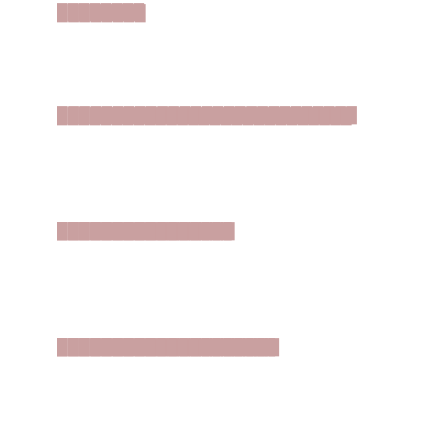████████
███████████████████████████
████████████████
████████████████████
███████████████████████
████████████████
██████████████████████
██████████████████████
██████████
████████████████████████████